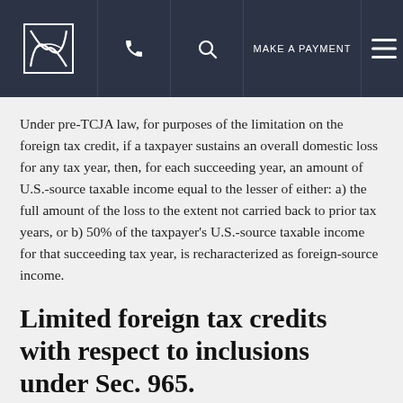[Figure (screenshot): Navigation bar with logo, phone icon, search icon, MAKE A PAYMENT text, and hamburger menu icon on dark navy background]
Under pre-TCJA law, for purposes of the limitation on the foreign tax credit, if a taxpayer sustains an overall domestic loss for any tax year, then, for each succeeding year, an amount of U.S.-source taxable income equal to the lesser of either: a) the full amount of the loss to the extent not carried back to prior tax years, or b) 50% of the taxpayer's U.S.-source taxable income for that succeeding tax year, is recharacterized as foreign-source income.
Limited foreign tax credits with respect to inclusions under Sec. 965.
For the last tax year of a foreign income corporation...